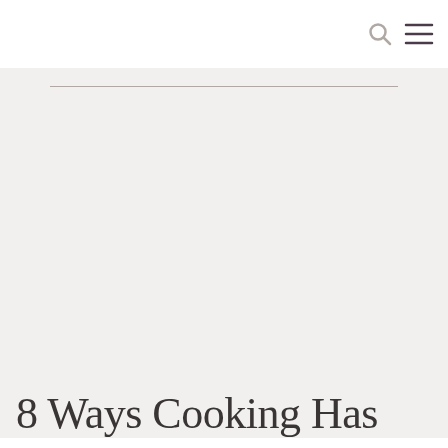[search icon] [menu icon]
[Figure (other): Advertisement placeholder block with horizontal rules at top and bottom on a light beige/gray background]
8 Ways Cooking Has